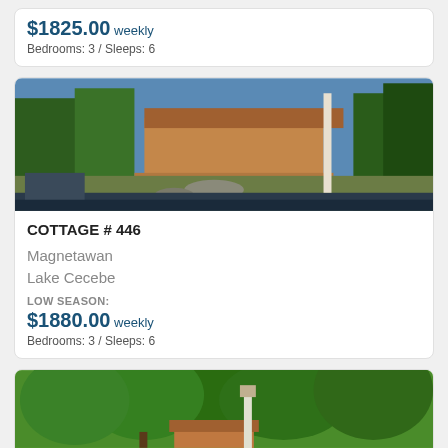$1825.00 weekly
Bedrooms: 3 / Sleeps: 6
[Figure (photo): Lakeside cottage with large deck, surrounded by trees, viewed from a dock with dark water in foreground]
COTTAGE # 446
Magnetawan
Lake Cecebe
LOW SEASON:
$1880.00 weekly
Bedrooms: 3 / Sleeps: 6
[Figure (photo): Cottage property with large green trees, small cottage building visible, green lawn and sandy beach area with yellow canoe]